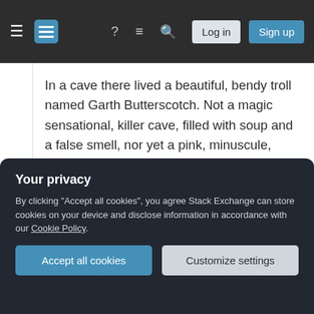Stack Exchange navigation bar with hamburger menu, logo, help, chat, search icons, Log in and Sign up buttons
In a cave there lived a beautiful, bendy troll named Garth Butterscotch. Not a magic sensational, killer cave, filled with soup and a false smell, nor yet a pink, minuscule, violent cave with nothing in it to sit down on or to eat: it was a troll-cave, and that means shelter.
One day, after a troubling visit from the dragon Charity Wu, Garth leaves his cave and sets out in search of three giant
Your privacy
By clicking "Accept all cookies", you agree Stack Exchange can store cookies on your device and disclose information in accordance with our Cookie Policy.
Accept all cookies
Customize settings
housekeeper.